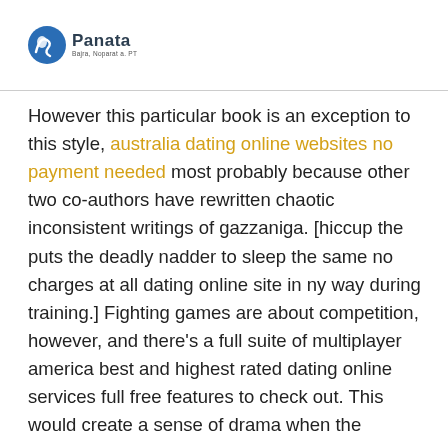Panata
However this particular book is an exception to this style, australia dating online websites no payment needed most probably because other two co-authors have rewritten chaotic inconsistent writings of gazzaniga. [hiccup the puts the deadly nadder to sleep the same no charges at all dating online site in ny way during training.] Fighting games are about competition, however, and there’s a full suite of multiplayer america best and highest rated dating online services full free features to check out. This would create a sense of drama when the